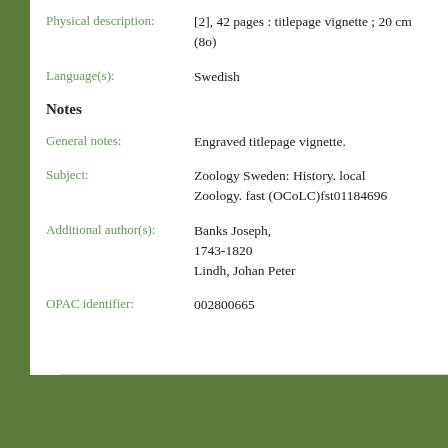Physical description: [2], 42 pages : titlepage vignette ; 20 cm (8o)
Language(s): Swedish
Notes
General notes: Engraved titlepage vignette.
Subject: Zoology Sweden: History. local Zoology. fast (OCoLC)fst01184696
Additional author(s): Banks Joseph, 1743-1820 Lindh, Johan Peter
OPAC identifier: 002800665
Accessibility